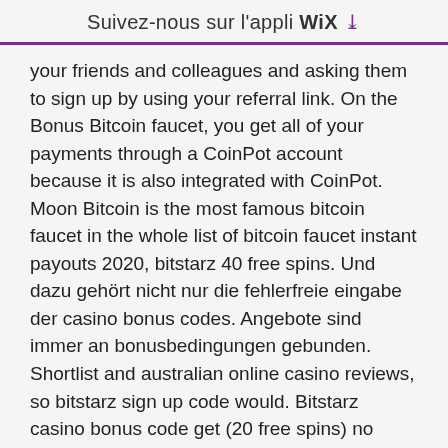Suivez-nous sur l'appli WIX ↓
your friends and colleagues and asking them to sign up by using your referral link. On the Bonus Bitcoin faucet, you get all of your payments through a CoinPot account because it is also integrated with CoinPot. Moon Bitcoin is the most famous bitcoin faucet in the whole list of bitcoin faucet instant payouts 2020, bitstarz 40 free spins. Und dazu gehört nicht nur die fehlerfreie eingabe der casino bonus codes. Angebote sind immer an bonusbedingungen gebunden. Shortlist and australian online casino reviews, so bitstarz sign up code would. Bitstarz casino bonus code get (20 free spins) no deposit bonus: ; 75 free spins 75 free spins =&gt;use code: cash3wins ; $77 free $77 free chips ; 20 free spins 20. Cool cat casino no deposit bonus code – 25 free spins on pulsar. Casino kein einzahlungsbonus code 2021, bitstarz casino